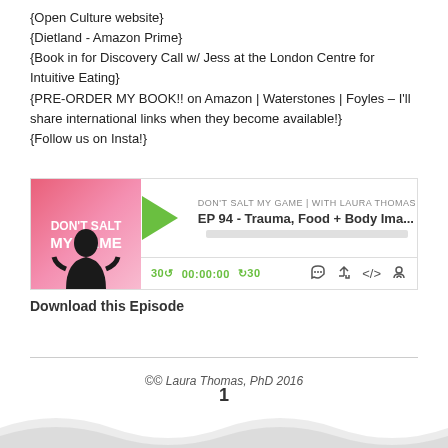{Open Culture website}
{Dietland - Amazon Prime}
{Book in for Discovery Call w/ Jess at the London Centre for Intuitive Eating}
{PRE-ORDER MY BOOK!! on Amazon | Waterstones | Foyles – I'll share international links when they become available!}
{Follow us on Insta!}
[Figure (screenshot): Podcast player widget for 'Don't Salt My Game | With Laura Thomas', showing episode EP 94 - Trauma, Food + Body Ima... with playback controls showing 00:00:00 and icons for feed, download, embed, and playlist.]
Download this Episode
©© Laura Thomas, PhD 2016